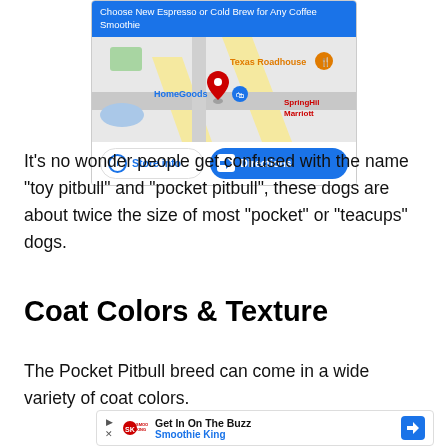[Figure (screenshot): Google Maps widget showing a store location with 'Choose New Espresso or Cold Brew for Any Coffee Smoothie' ad bar at top, map view with Texas Roadhouse, HomeGoods, SpringHil Marriott labels, a red pin marker, and two buttons: 'Store info' and 'Directions']
It’s no wonder people get confused with the name “toy pitbull” and “pocket pitbull”, these dogs are about twice the size of most “pocket” or “teacups” dogs.
Coat Colors & Texture
The Pocket Pitbull breed can come in a wide variety of coat colors.
[Figure (screenshot): Smoothie King ad bar with play/close icons, Smoothie King logo, 'Get In On The Buzz' title, 'Smoothie King' subtitle in blue, and a directions diamond icon]